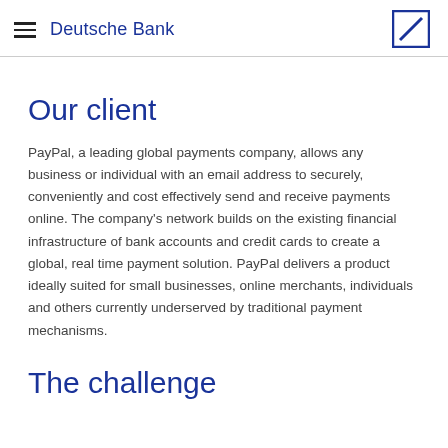Deutsche Bank
Our client
PayPal, a leading global payments company, allows any business or individual with an email address to securely, conveniently and cost effectively send and receive payments online. The company’s network builds on the existing financial infrastructure of bank accounts and credit cards to create a global, real time payment solution. PayPal delivers a product ideally suited for small businesses, online merchants, individuals and others currently underserved by traditional payment mechanisms.
The challenge